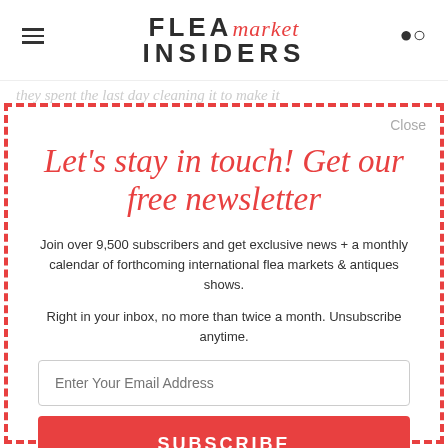FLEA market INSIDERS
they spent the last day cleaning it to make it
Let's stay in touch! Get our free newsletter
Close
Join over 9,500 subscribers and get exclusive news + a monthly calendar of forthcoming international flea markets & antiques shows.
Right in your inbox, no more than twice a month. Unsubscribe anytime.
Enter Your Email Address
SUBSCRIBE